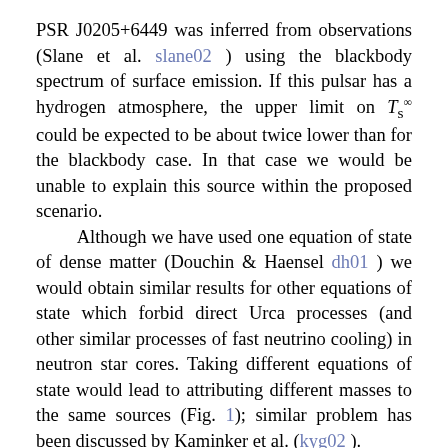PSR J0205+6449 was inferred from observations (Slane et al. slane02 ) using the blackbody spectrum of surface emission. If this pulsar has a hydrogen atmosphere, the upper limit on T_s^∞ could be expected to be about twice lower than for the blackbody case. In that case we would be unable to explain this source within the proposed scenario.
    Although we have used one equation of state of dense matter (Douchin & Haensel dh01 ) we would obtain similar results for other equations of state which forbid direct Urca processes (and other similar processes of fast neutrino cooling) in neutron star cores. Taking different equations of state would lead to attributing different masses to the same sources (Fig. 1); similar problem has been discussed by Kaminker et al. (kyg02 ).
    In addition, we could take an equation of state in the stellar core which opens direct Urca process at highest densities (in the central kernels of most